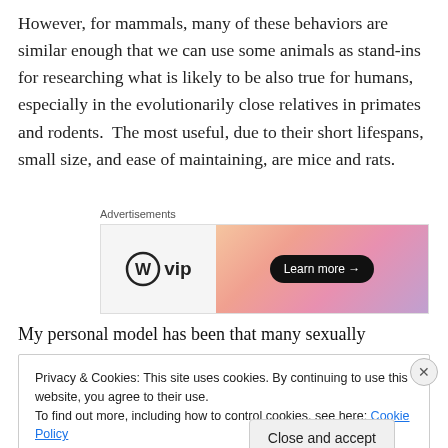However, for mammals, many of these behaviors are similar enough that we can use some animals as stand-ins for researching what is likely to be also true for humans, especially in the evolutionarily close relatives in primates and rodents.  The most useful, due to their short lifespans, small size, and ease of maintaining, are mice and rats.
[Figure (other): WordPress VIP advertisement banner with gradient orange/pink/purple background and 'Learn more →' button]
My personal model has been that many sexually
Privacy & Cookies: This site uses cookies. By continuing to use this website, you agree to their use.
To find out more, including how to control cookies, see here: Cookie Policy